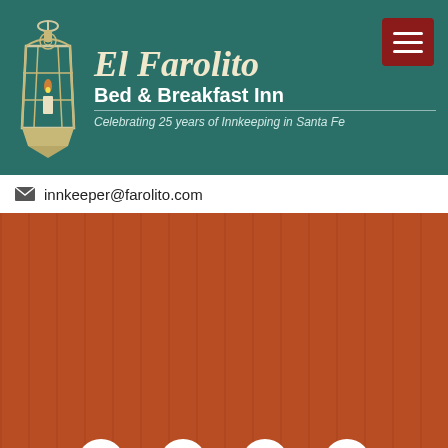[Figure (logo): El Farolito Bed & Breakfast Inn logo with lantern icon on teal/dark green header background]
El Farolito Bed & Breakfast Inn
Celebrating 25 years of Innkeeping in Santa Fe
innkeeper@farolito.com
[Figure (logo): Social media icons: Facebook, TripAdvisor, Yelp, Instagram]
[Figure (logo): NM Safe Certified badge - circular seal with New Mexico outline and heart]
[Figure (logo): New Mexico Bed & Breakfast Association logo in cursive script with tagline]